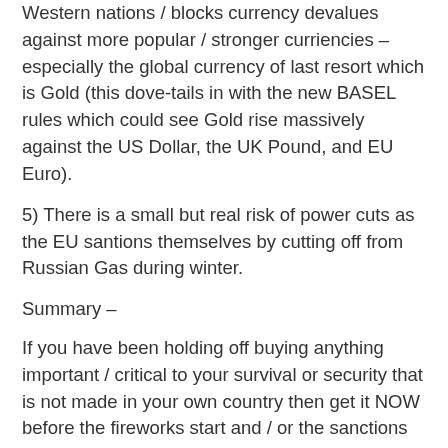Western nations / blocks currency devalues against more popular / stronger curriencies – especially the global currency of last resort which is Gold (this dove-tails in with the new BASEL rules which could see Gold rise massively against the US Dollar, the UK Pound, and EU Euro).
5) There is a small but real risk of power cuts as the EU santions themselves by cutting off from Russian Gas during winter.
Summary –
If you have been holding off buying anything important / critical to your survival or security that is not made in your own country then get it NOW before the fireworks start and / or the sanctions begin to bite hard.
In a few weeks, let alone months time, you may not be able to get the item(s) you require due to the effect of sanctions, or if you can still get them they may be double, triple, or quadrupple current prices due to currency fluctuations / supply chain shortages.
If you are concerned about food or any other critical supply then I recommend that you top off your purchases (and preps) now while prices are still lower and availability good.